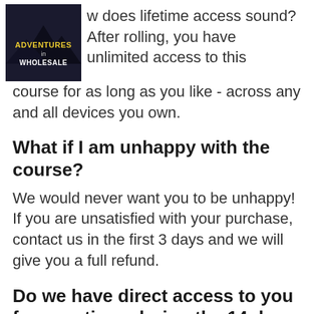[Figure (logo): Adventures in Wholesale course logo — dark background with yellow and white text]
w does lifetime access sound? After rolling, you have unlimited access to this course for as long as you like - across any and all devices you own.
What if I am unhappy with the course?
We would never want you to be unhappy! If you are unsatisfied with your purchase, contact us in the first 3 days and we will give you a full refund.
Do we have direct access to you for questions during the 14 day course?